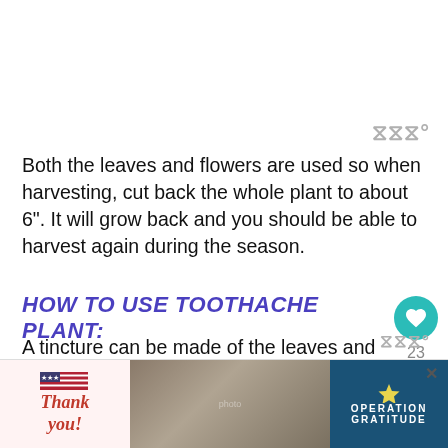[Figure (other): White empty space at top of page, likely where an image would appear]
Both the leaves and flowers are used so when harvesting, cut back the whole plant to about 6". It will grow back and you should be able to harvest again during the season.
HOW TO USE TOOTHACHE PLANT:
A tincture can be made of the leaves and flowers of the toothache plant to help with mouth pain. For a numbing effect, swish several drops in the mouth for a minute...
[Figure (photo): Advertisement banner at bottom: Thank you message with US flag, soldiers photo, and Operation Gratitude logo]